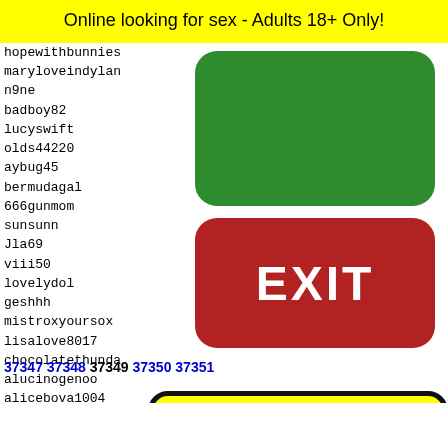Online looking for sex - Adults 18+ Only!
hopewithbunnies
maryloveindylan
n9ne
badboy82
lucyswift
olds44220
aybug45
bermudagal
666gunmom
sunsunn
Jla69
viii50
lovelydol
geshhh
mistroxyoursox
lisalove8017
chocolatethunda
alucinogenoo
alicebova1004
boger-citylonelyi3
sabask
freaky
famati
Grider
wildsy
massim
[Figure (other): Green rounded rectangle button (no label), red rounded rectangle button with EXIT text in white, yellow emoji face panel with dots pattern at bottom]
37347 37348 37349 37350 37351